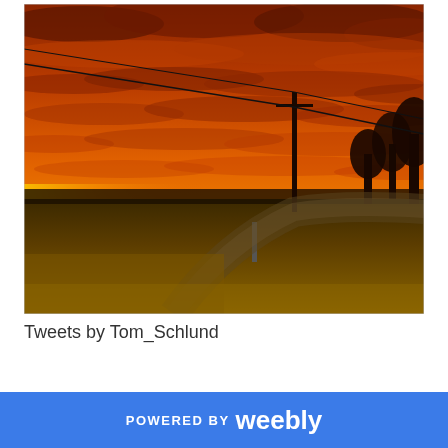[Figure (photo): Dramatic rural sunset photo showing orange and red clouds filling the sky, with a country road, utility pole, and bare trees in the foreground. The horizon glows bright yellow-orange.]
Tweets by Tom_Schlund
POWERED BY weebly